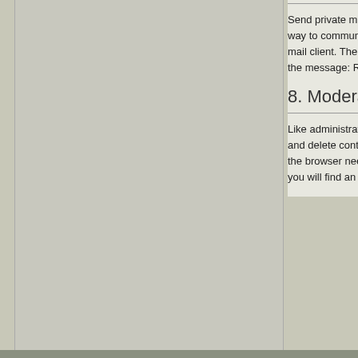[Figure (screenshot): Gray left panel area of a forum page]
Send private mes... way to communic... mail client. The ic... the message: Rea...
8. Moderatio...
Like administrator... and delete conten... the browser need... you will find an ov...
Legal Notice | Terms of use
Forum Software: Burning Board®, developed...
Style made by Kugelfisch / based on the old 6mm Style / grafics by...